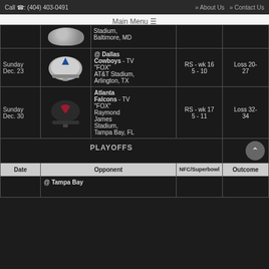Call (404) 403-0491   » About Us  » Contact Us
Main Menu
| Date | Opponent |  | RS/Outcome |
| --- | --- | --- | --- |
|  | Stadium, Baltimore, MD |  |  |
| Sunday Dec. 23 | @ Dallas Cowboys - TV "FOX" AT&T Stadium, Arlington, TX | RS - wk 16 5 - 10 | Loss 20-27 |
| Sunday Dec. 30 | Atlanta Falcons - TV "FOX" Raymond James Stadium, Tampa Bay, FL | RS - wk 17 5 - 11 | Loss 32-34 |
| PLAYOFFS |  |  |  |
| Date | Opponent | NFC/Superbowl | Outcome |
|  | @ Tampa Bay |  |  |